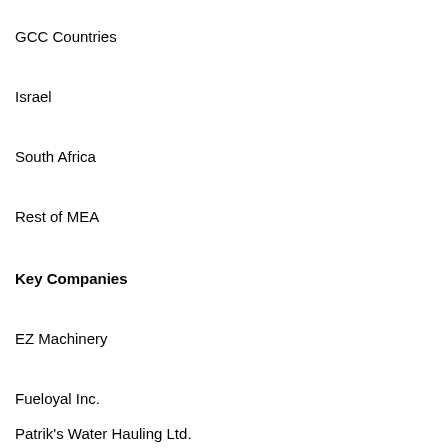GCC Countries
Israel
South Africa
Rest of MEA
Key Companies
EZ Machinery
Fueloyal Inc.
Patrik's Water Hauling Ltd.